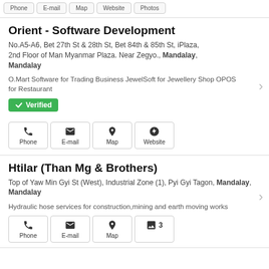Phone  E-mail  Map  Website  Photos
Orient - Software Development
No.A5-A6, Bet 27th St & 28th St, Bet 84th & 85th St, iPlaza, 2nd Floor of Man Myanmar Plaza. Near Zegyo., Mandalay, Mandalay
O.Mart Software for Trading Business JewelSoft for Jewellery Shop OPOS for Restaurant
Verified
Phone
E-mail
Map
Website
Htilar (Than Mg & Brothers)
Top of Yaw Min Gyi St (West), Industrial Zone (1), Pyi Gyi Tagon, Mandalay, Mandalay
Hydraulic hose services for construction,mining and earth moving works
Phone
E-mail
Map
3